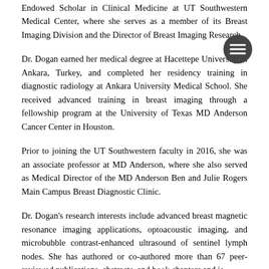Endowed Scholar in Clinical Medicine at UT Southwestern Medical Center, where she serves as a member of its Breast Imaging Division and the Director of Breast Imaging Research.
Dr. Dogan earned her medical degree at Hacettepe University in Ankara, Turkey, and completed her residency training in diagnostic radiology at Ankara University Medical School. She received advanced training in breast imaging through a fellowship program at the University of Texas MD Anderson Cancer Center in Houston.
Prior to joining the UT Southwestern faculty in 2016, she was an associate professor at MD Anderson, where she also served as Medical Director of the MD Anderson Ben and Julie Rogers Main Campus Breast Diagnostic Clinic.
Dr. Dogan's research interests include advanced breast magnetic resonance imaging applications, optoacoustic imaging, and microbubble contrast-enhanced ultrasound of sentinel lymph nodes. She has authored or co-authored more than 67 peer-reviewed publications, abstracts, and book chapters and is